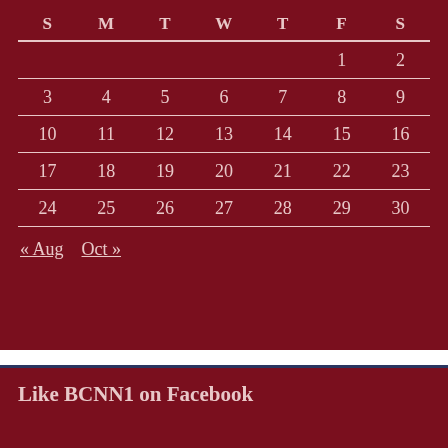| S | M | T | W | T | F | S |
| --- | --- | --- | --- | --- | --- | --- |
|  |  |  |  |  | 1 | 2 |
| 3 | 4 | 5 | 6 | 7 | 8 | 9 |
| 10 | 11 | 12 | 13 | 14 | 15 | 16 |
| 17 | 18 | 19 | 20 | 21 | 22 | 23 |
| 24 | 25 | 26 | 27 | 28 | 29 | 30 |
« Aug   Oct »
Like BCNN1 on Facebook